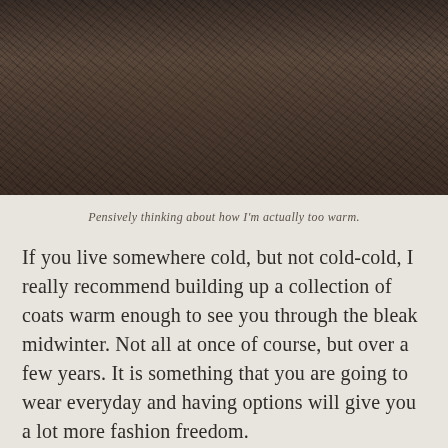[Figure (photo): Lower half of a person wearing a long dark patterned coat/dress, standing outdoors on a gravel or paved surface. The garment has an intricate dark floral or animal print pattern.]
Pensively thinking about how I'm actually too warm.
If you live somewhere cold, but not cold-cold, I really recommend building up a collection of coats warm enough to see you through the bleak midwinter. Not all at once of course, but over a few years. It is something that you are going to wear everyday and having options will give you a lot more fashion freedom.
Also I once nearly had a mental breakdown